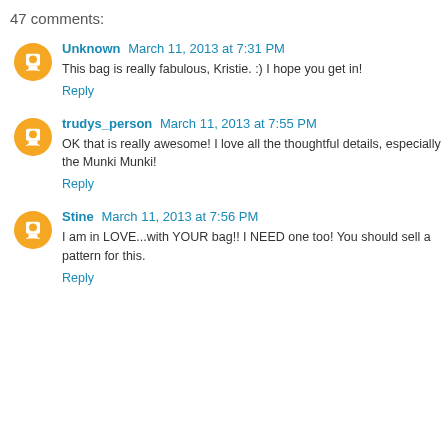47 comments:
Unknown March 11, 2013 at 7:31 PM
This bag is really fabulous, Kristie. :) I hope you get in!
Reply
trudys_person March 11, 2013 at 7:55 PM
OK that is really awesome! I love all the thoughtful details, especially the Munki Munki!
Reply
Stine March 11, 2013 at 7:56 PM
I am in LOVE...with YOUR bag!! I NEED one too! You should sell a pattern for this.
Reply